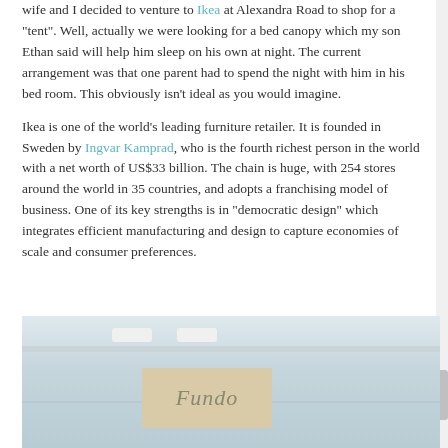wife and I decided to venture to Ikea at Alexandra Road to shop for a "tent". Well, actually we were looking for a bed canopy which my son Ethan said will help him sleep on his own at night. The current arrangement was that one parent had to spend the night with him in his bed room. This obviously isn't ideal as you would imagine.
Ikea is one of the world's leading furniture retailer. It is founded in Sweden by Ingvar Kamprad, who is the fourth richest person in the world with a net worth of US$33 billion. The chain is huge, with 254 stores around the world in 35 countries, and adopts a franchising model of business. One of its key strengths is in "democratic design" which integrates efficient manufacturing and design to capture economies of scale and consumer preferences.
[Figure (photo): Interior photo of what appears to be an IKEA store or similar large retail space, showing a white ceiling with recessed lighting and a sign reading 'Fundo' or similar text on the wall.]